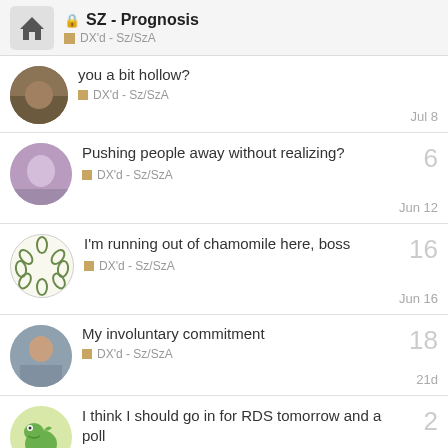SZ - Prognosis | DX'd - Sz/SzA
you a bit hollow? | DX'd - Sz/SzA | Jul 8
Pushing people away without realizing? | DX'd - Sz/SzA | Jun 12 | replies: 6
I'm running out of chamomile here, boss | DX'd - Sz/SzA | Jun 16 | replies: 16
My involuntary commitment | DX'd - Sz/SzA | 21d | replies: 18
I think I should go in for RDS tomorrow and a poll | DX'd - Sz/SzA | 9d | replies: 2